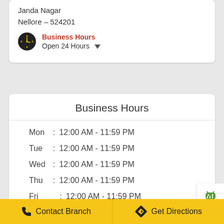Janda Nagar
Nellore - 524201
Business Hours
Open 24 Hours
Business Hours
Mon : 12:00 AM - 11:59 PM
Tue : 12:00 AM - 11:59 PM
Wed : 12:00 AM - 11:59 PM
Thu : 12:00 AM - 11:59 PM
Fri  : 12:00 AM - 11:59 PM
Sat : 12:00 AM - 11:59 PM
Sun : 12:00 AM - 11:59 PM
Contact Branch | Get Directions